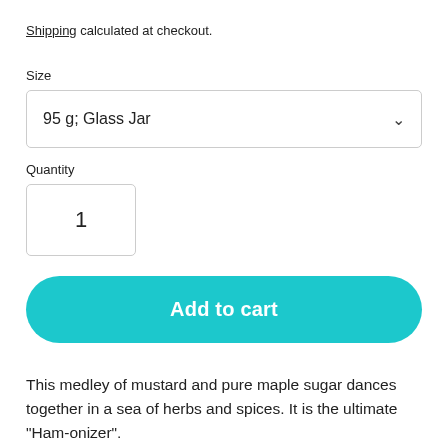Shipping calculated at checkout.
Size
[Figure (screenshot): Dropdown selector showing '95 g; Glass Jar' with a chevron arrow on the right]
Quantity
[Figure (screenshot): Quantity input box showing the value '1']
[Figure (screenshot): Teal 'Add to cart' button with rounded corners]
This medley of mustard and pure maple sugar dances together in a sea of herbs and spices. It is the ultimate "Ham-onizer".